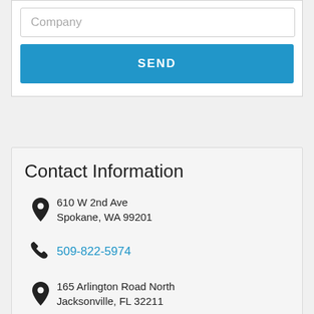Company
SEND
Contact Information
610 W 2nd Ave Spokane, WA 99201
509-822-5974
165 Arlington Road North Jacksonville, FL 32211
904-204-1191
sales@designitsolutions.com